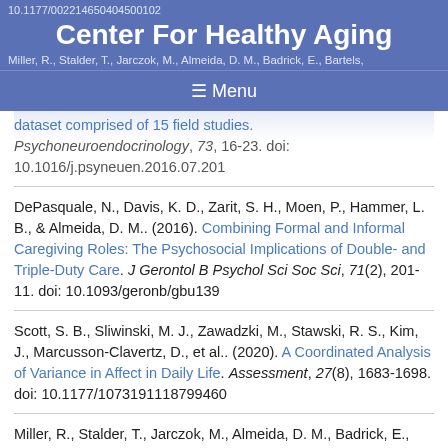10.1177/002214650404500102
Center For Healthy Aging
Miller, R., Stalder, T., Jarczok, M., Almeida, D. M., Badrick, E., Bartels,
☰ Menu
dataset comprised of 15 field studies. Psychoneuroendocrinology, 73, 16-23. doi: 10.1016/j.psyneuen.2016.07.201
DePasquale, N., Davis, K. D., Zarit, S. H., Moen, P., Hammer, L. B., & Almeida, D. M.. (2016). Combining Formal and Informal Caregiving Roles: The Psychosocial Implications of Double- and Triple-Duty Care. J Gerontol B Psychol Sci Soc Sci, 71(2), 201-11. doi: 10.1093/geronb/gbu139
Scott, S. B., Sliwinski, M. J., Zawadzki, M., Stawski, R. S., Kim, J., Marcusson-Clavertz, D., et al.. (2020). A Coordinated Analysis of Variance in Affect in Daily Life. Assessment, 27(8), 1683-1698. doi: 10.1177/1073191118799460
Miller, R., Stalder, T., Jarczok, M., Almeida, D. M., Badrick, E., Bartels, M., et al.. (2017). Corrigendum to "The CIRCORT database: Reference ranges and seasonal changes in diurnal salivary